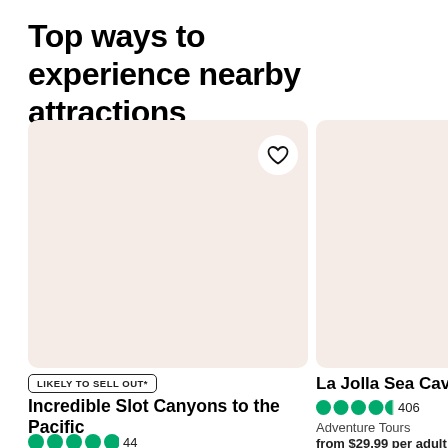Top ways to experience nearby attractions
[Figure (photo): Light pink/peach placeholder image card for Incredible Slot Canyons to the Pacific listing, with a white heart/favorite button in the top right corner]
[Figure (photo): Light pink/peach placeholder image card for La Jolla Sea Caves listing, partially visible on the right side]
LIKELY TO SELL OUT*
Incredible Slot Canyons to the Pacific
44
La Jolla Sea Caves
406
Adventure Tours
from $29.99 per adult